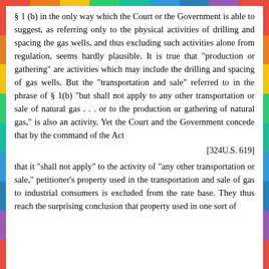§ 1 (b) in the only way which the Court or the Government is able to suggest, as referring only to the physical activities of drilling and spacing the gas wells, and thus excluding such activities alone from regulation, seems hardly plausible. It is true that "production or gathering" are activities which may include the drilling and spacing of gas wells. But the "transportation and sale" referred to in the phrase of § 1(b) "but shall not apply to any other transportation or sale of natural gas . . . or to the production or gathering of natural gas," is also an activity. Yet the Court and the Government concede that by the command of the Act
[324U.S. 619]
that it "shall not apply" to the activity of "any other transportation or sale," petitioner's property used in the transportation and sale of gas to industrial consumers is excluded from the rate base. They thus reach the surprising conclusion that property used in one sort of